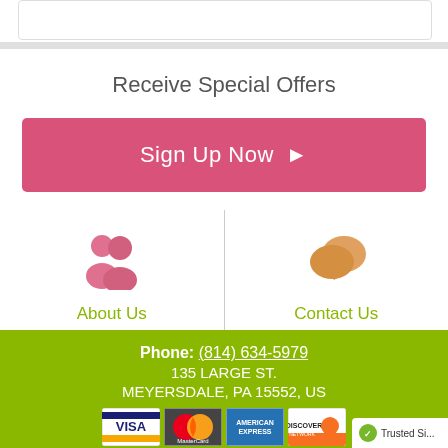Receive Special Offers
Sign Up Now ▶
[Figure (illustration): About Us icon: pink silhouette of two people]
About Us
[Figure (illustration): Contact Us icon: orange speech bubbles]
Contact Us
Phone: (814) 634-5979
135 LARGE ST.
MEYERSDALE, PA 15552, US
[Figure (illustration): Payment card logos: Visa, MasterCard, American Express, Discover]
[Figure (illustration): Trusted Site badge (partial)]